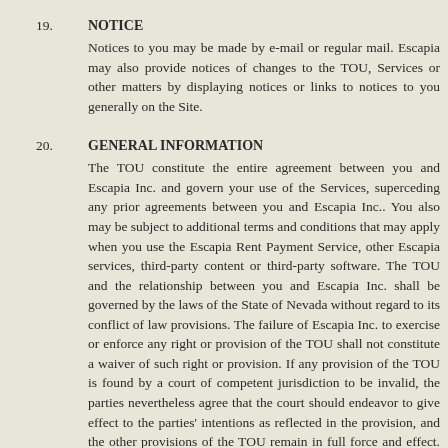19. NOTICE
Notices to you may be made by e-mail or regular mail. Escapia may also provide notices of changes to the TOU, Services or other matters by displaying notices or links to notices to you generally on the Site.
20. GENERAL INFORMATION
The TOU constitute the entire agreement between you and Escapia Inc. and govern your use of the Services, superceding any prior agreements between you and Escapia Inc.. You also may be subject to additional terms and conditions that may apply when you use the Escapia Rent Payment Service, other Escapia services, third-party content or third-party software. The TOU and the relationship between you and Escapia Inc. shall be governed by the laws of the State of Nevada without regard to its conflict of law provisions. The failure of Escapia Inc. to exercise or enforce any right or provision of the TOU shall not constitute a waiver of such right or provision. If any provision of the TOU is found by a court of competent jurisdiction to be invalid, the parties nevertheless agree that the court should endeavor to give effect to the parties' intentions as reflected in the provision, and the other provisions of the TOU remain in full force and effect. You agree that regardless of any statute or law to the contrary, any